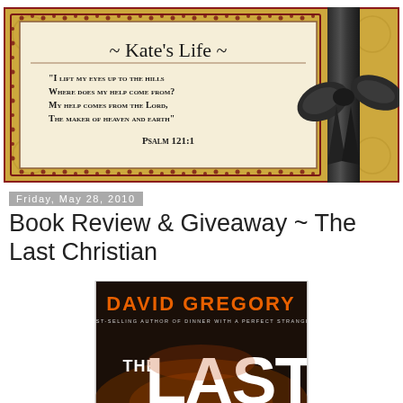[Figure (illustration): Blog header banner for 'Kate's Life' with parchment-style card, decorative border, Bible verse from Psalm 121:1, gold background with scroll patterns, and black ribbon with bow on the right side]
Friday, May 28, 2010
Book Review & Giveaway ~ The Last Christian
[Figure (photo): Book cover of 'The Last Christian' by David Gregory, best-selling author of Dinner with a Perfect Stranger. Dark background with orange and white text, large stylized letters.]